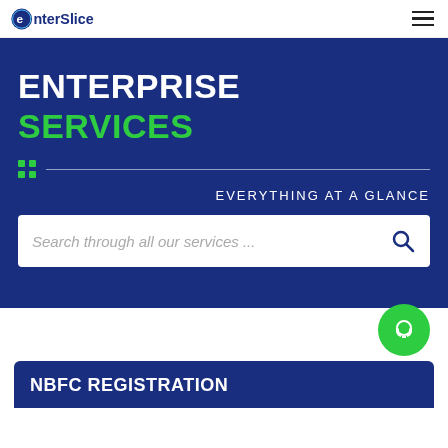EnterSlice
ENTERPRISE SERVICES
EVERYTHING AT A GLANCE
Search through all our services ...
NBFC REGISTRATION